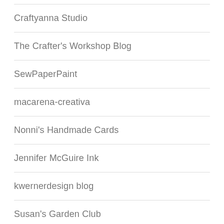Craftyanna Studio
The Crafter's Workshop Blog
SewPaperPaint
macarena-creativa
Nonni's Handmade Cards
Jennifer McGuire Ink
kwernerdesign blog
Susan's Garden Club